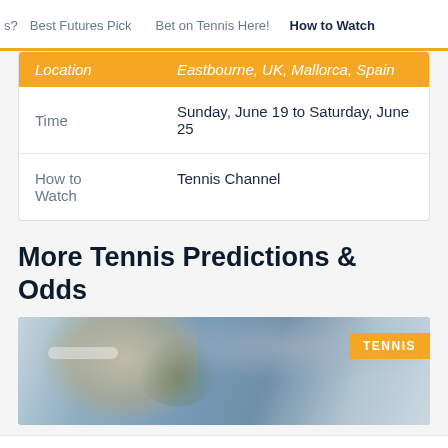s? | Best Futures Pick | Bet on Tennis Here! | How to Watch
| Location | Eastbourne, UK, Mallorca, Spain |
| Time | Sunday, June 19 to Saturday, June 25 |
| How to Watch | Tennis Channel |
More Tennis Predictions & Odds
[Figure (photo): Tennis player swinging racket with crowd in background; orange TENNIS badge in top right corner]
Sportsbooks | Bonuses | State Guides